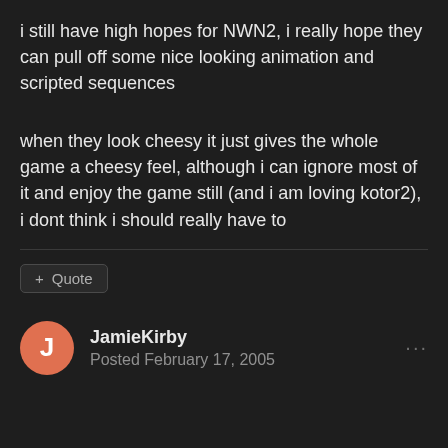i still have high hopes for NWN2, i really hope they can pull off some nice looking animation and scripted sequences
when they look cheesy it just gives the whole game a cheesy feel, although i can ignore most of it and enjoy the game still (and i am loving kotor2), i dont think i should really have to
Quote
JamieKirby
Posted February 17, 2005